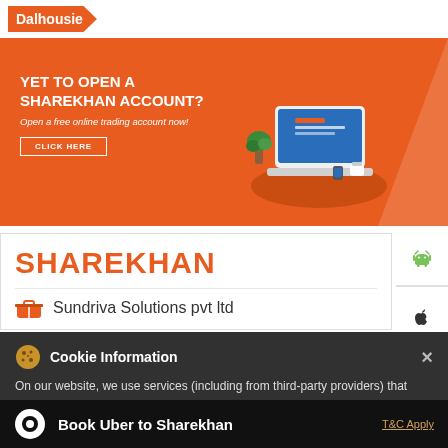Dalhousie
[Figure (screenshot): Orange Sharekhan promotional banner: 'YET TO OPEN A SHAREKHAN ACCOUNT? Open a free online trading account now! CLICK HERE' with laptop illustration on the right]
SHAREKHAN
Sundriva Solutions pvt ltd
No 207, 2nd Floor, Hemanta Basu Sarani
Kolkata - 700001
Open until 05:30 PM
Cookie Information
On our website, we use services (including from third-party providers) that help us to improve our online presence (optimization of website) and to display content that is geared to their interests. We need your consent before being able to use these services.
Book Uber to Sharekhan
T&C Apply